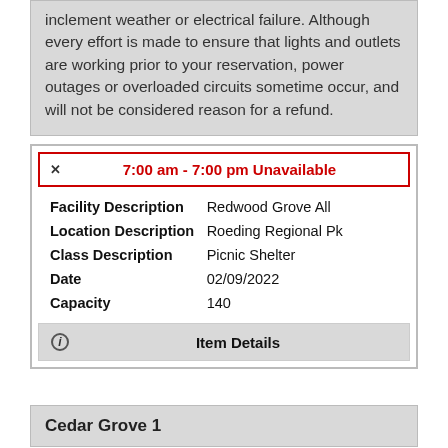inclement weather or electrical failure. Although every effort is made to ensure that lights and outlets are working prior to your reservation, power outages or overloaded circuits sometime occur, and will not be considered reason for a refund.
7:00 am - 7:00 pm Unavailable
| Field | Value |
| --- | --- |
| Facility Description | Redwood Grove All |
| Location Description | Roeding Regional Pk |
| Class Description | Picnic Shelter |
| Date | 02/09/2022 |
| Capacity | 140 |
Item Details
Cedar Grove 1